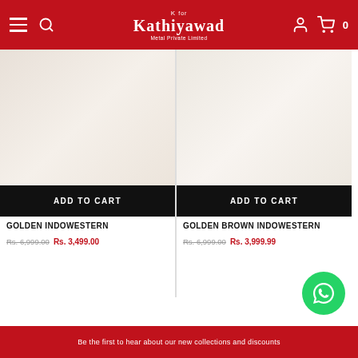K For Kathiyawad Metal Private Limited
[Figure (screenshot): Product image area for Golden Indowestern garment, partially visible]
ADD TO CART
GOLDEN INDOWESTERN
Rs. 6,999.00 Rs. 3,499.00
[Figure (screenshot): Product image area for Golden Brown Indowestern garment, partially visible]
ADD TO CART
GOLDEN BROWN INDOWESTERN
Rs. 6,999.00 Rs. 3,999.99
[Figure (screenshot): WhatsApp contact button (green circle with phone icon)]
Be the first to hear about our new collections and discounts